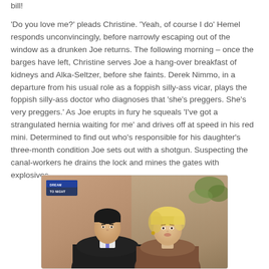bill!
'Do you love me?' pleads Christine. 'Yeah, of course I do' Hemel responds unconvincingly, before narrowly escaping out of the window as a drunken Joe returns. The following morning – once the barges have left, Christine serves Joe a hang-over breakfast of kidneys and Alka-Seltzer, before she faints. Derek Nimmo, in a departure from his usual role as a foppish silly-ass vicar, plays the foppish silly-ass doctor who diagnoses that 'she's preggers. She's very preggers.' As Joe erupts in fury he squeals 'I've got a strangulated hernia waiting for me' and drives off at speed in his red mini. Determined to find out who's responsible for his daughter's three-month condition Joe sets out with a shotgun. Suspecting the canal-workers he drains the lock and mines the gates with explosives.
[Figure (photo): A photograph showing two people facing each other. On the left is a dark-haired man in a dark suit with a white collar/shirt visible. On the right is a blonde woman. There is a sign visible in the upper left of the image that appears to say 'TO NIGHT' on a dark background. The scene appears to be from a film or TV show.]